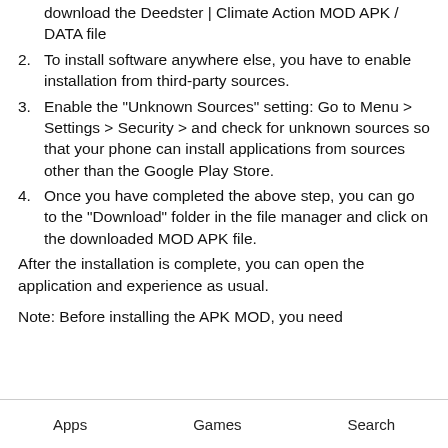download the Deedster | Climate Action MOD APK / DATA file
2. To install software anywhere else, you have to enable installation from third-party sources.
3. Enable the "Unknown Sources" setting: Go to Menu > Settings > Security > and check for unknown sources so that your phone can install applications from sources other than the Google Play Store.
4. Once you have completed the above step, you can go to the "Download" folder in the file manager and click on the downloaded MOD APK file.
After the installation is complete, you can open the application and experience as usual.
Note: Before installing the APK MOD, you need
Apps   Games   Search